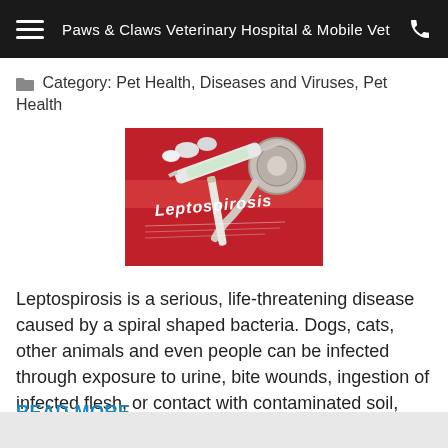Paws & Claws Veterinary Hospital & Mobile Vet
Category: Pet Health, Diseases and Viruses, Pet Health
[Figure (photo): Medical photo showing a stethoscope, syringe, and pills on a red background with the word 'Leptospirosis' printed on it]
Leptospirosis is a serious, life-threatening disease caused by a spiral shaped bacteria. Dogs, cats, other animals and even people can be infected through exposure to urine, bite wounds, ingestion of infected flesh, or contact with contaminated soil, water and even bedding. Certain environmental conditions
READ MORE